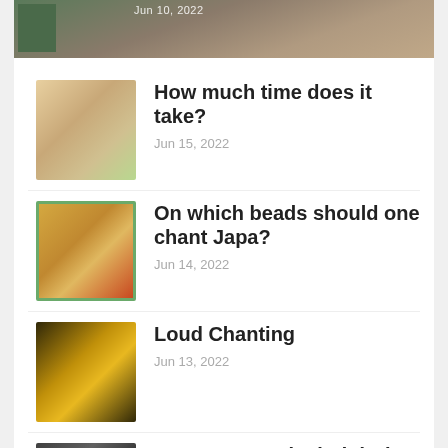[Figure (photo): Top banner image strip showing partial date Jun 10, 2022 and a thumbnail on the left, brownish warm tones]
How much time does it take? Jun 15, 2022
On which beads should one chant Japa? Jun 14, 2022
Loud Chanting Jun 13, 2022
How to control mind during Japa? Jun 12, 2022